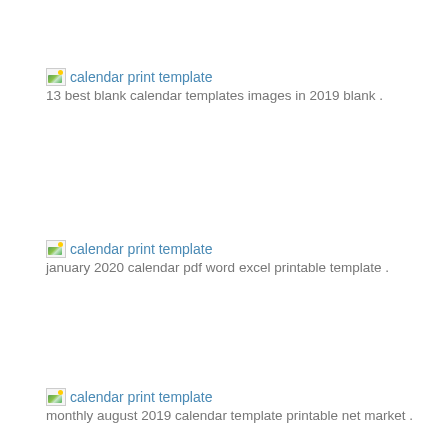calendar print template
13 best blank calendar templates images in 2019 blank .
calendar print template
january 2020 calendar pdf word excel printable template .
calendar print template
monthly august 2019 calendar template printable net market .